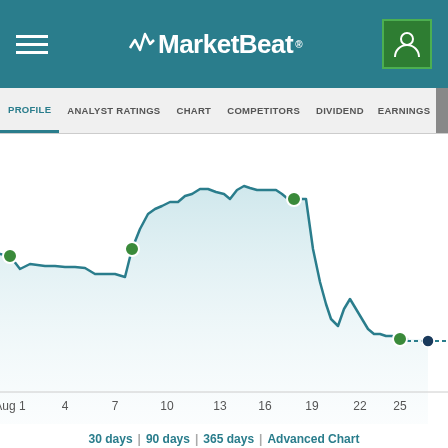MarketBeat
PROFILE | ANALYST RATINGS | CHART | COMPETITORS | DIVIDEND | EARNINGS
[Figure (continuous-plot): Stock price line chart over approximately 30 days in August. The line starts at a moderate level around Aug 1, dips slightly, then rises sharply around Aug 10 to a higher plateau, peaks around Aug 16, stays elevated through Aug 22, then drops sharply around Aug 25, ending at a low point near the right edge. Green circular markers appear at Aug 1, Aug 10, Aug 22, and near the end. A dark blue dot and dashed line appear at the far right edge.]
30 days | 90 days | 365 days | Advanced Chart